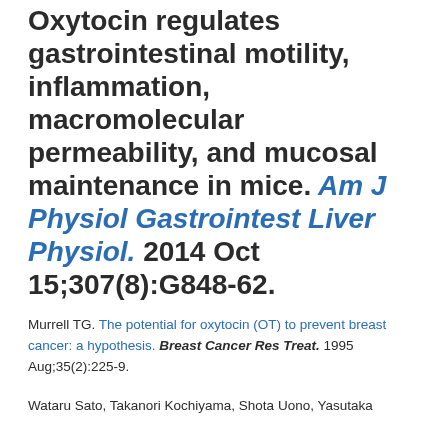Oxytocin regulates gastrointestinal motility, inflammation, macromolecular permeability, and mucosal maintenance in mice. Am J Physiol Gastrointest Liver Physiol. 2014 Oct 15;307(8):G848-62.
Murrell TG. The potential for oxytocin (OT) to prevent breast cancer: a hypothesis. Breast Cancer Res Treat. 1995 Aug;35(2):225-9.
Wataru Sato, Takanori Kochiyama, Shota Uono, Yasutaka